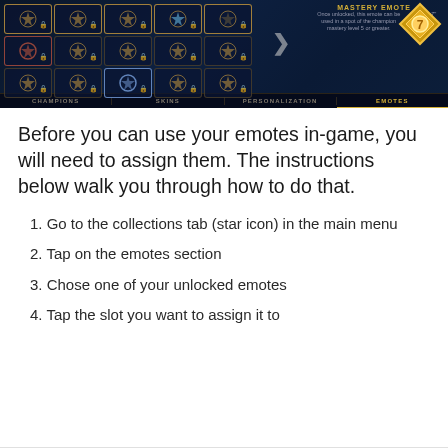[Figure (screenshot): Screenshot of a game UI showing emotes collection screen with a grid of champion mastery emote icons arranged in rows, a rightward arrow, a mastery emote panel on the right with a golden diamond icon and description text, and a navigation bar at the bottom with tabs: CHAMPIONS, SKINS, PERSONALIZATION, EMOTES (active).]
Before you can use your emotes in-game, you will need to assign them. The instructions below walk you through how to do that.
1. Go to the collections tab (star icon) in the main menu
2. Tap on the emotes section
3. Chose one of your unlocked emotes
4. Tap the slot you want to assign it to